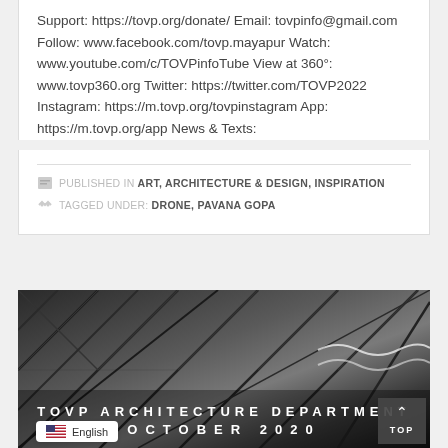Support: https://tovp.org/donate/ Email: tovpinfo@gmail.com Follow: www.facebook.com/tovp.mayapur Watch: www.youtube.com/c/TOVPinfoTube View at 360°: www.tovp360.org Twitter: https://twitter.com/TOVP2022 Instagram: https://m.tovp.org/tovpinstagram App: https://m.tovp.org/app News & Texts:
PUBLISHED IN ART, ARCHITECTURE & DESIGN, INSPIRATION
TAGGED UNDER: DRONE, PAVANA GOPA
[Figure (photo): Dark architectural image with diamond/rhombus grid pattern overlay, showing building structure in black and white tones. Text overlay reads 'TOVP ARCHITECTURE DEPARTMENT OCTOBER 2020'. A 'TOP' button is visible in the bottom right corner.]